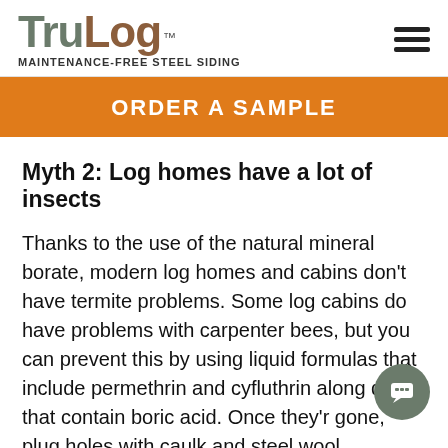TruLog™ MAINTENANCE-FREE STEEL SIDING
ORDER A SAMPLE
Myth 2: Log homes have a lot of insects
Thanks to the use of the natural mineral borate, modern log homes and cabins don't have termite problems. Some log cabins do have problems with carpenter bees, but you can prevent this by using liquid formulas that include permethrin and cyfluthrin along dusts that contain boric acid. Once they're gone, plug holes with caulk and steel wool